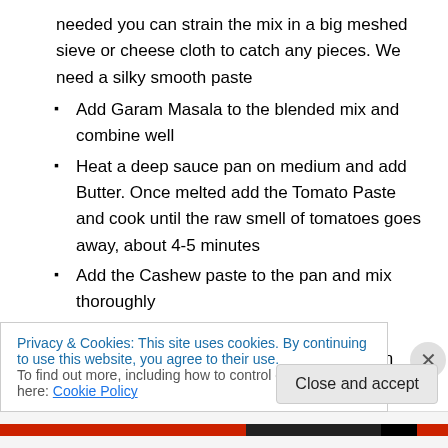needed you can strain the mix in a big meshed sieve or cheese cloth to catch any pieces. We need a silky smooth paste
Add Garam Masala to the blended mix and combine well
Heat a deep sauce pan on medium and add Butter. Once melted add the Tomato Paste and cook until the raw smell of tomatoes goes away, about 4-5 minutes
Add the Cashew paste to the pan and mix thoroughly
Add the remaining Milk, Salt, Red Chilli powder, and Tomato Ketchup and cook on simmer for 5-7 minutes
Privacy & Cookies: This site uses cookies. By continuing to use this website, you agree to their use.
To find out more, including how to control cookies, see here: Cookie Policy
Close and accept